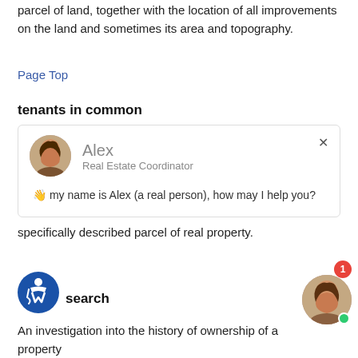parcel of land, together with the location of all improvements on the land and sometimes its area and topography.
Page Top
tenants in common
[Figure (screenshot): Chat widget with avatar of Alex, Real Estate Coordinator, showing message: 👋 my name is Alex (a real person), how may I help you?]
specifically described parcel of real property.
search
An investigation into the history of ownership of a property